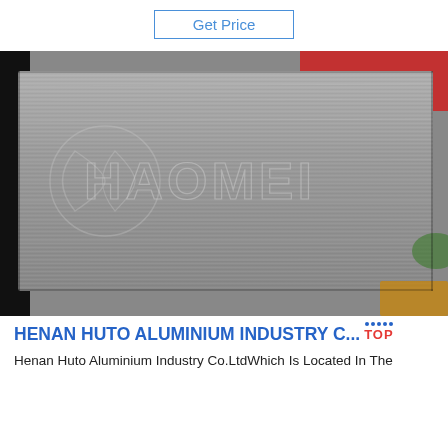Get Price
[Figure (photo): Brushed aluminum/metal sheet with embossed HAOMEI logo and leaf watermark design, photographed on a surface with red and green objects visible in background corners.]
HENAN HUTO ALUMINIUM INDUSTRY C...
Henan Huto Aluminium Industry Co.LtdWhich Is Located In The